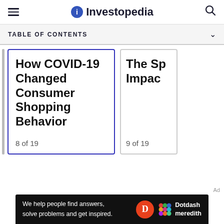Investopedia
TABLE OF CONTENTS
How COVID-19 Changed Consumer Shopping Behavior
8 of 19
The Sp Impac
9 of 19
Ad
We help people find answers, solve problems and get inspired.
Dotdash meredith